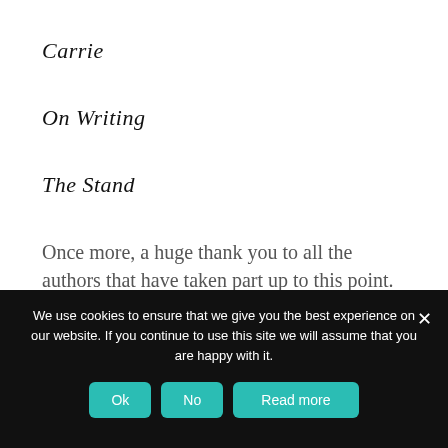Carrie
On Writing
The Stand
Once more, a huge thank you to all the authors that have taken part up to this point.
We use cookies to ensure that we give you the best experience on our website. If you continue to use this site we will assume that you are happy with it.